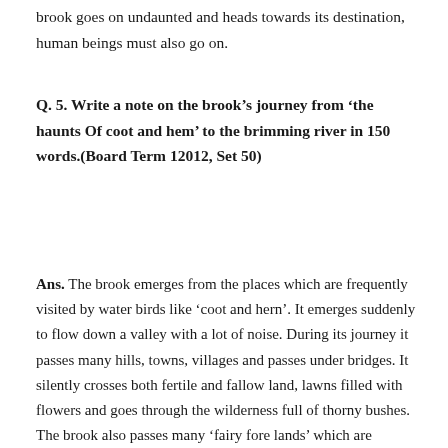brook goes on undaunted and heads towards its destination, human beings must also go on.
Q. 5. Write a note on the brook's journey from 'the haunts Of coot and hem' to the brimming river in 150 words.(Board Term 12012, Set 50)
Ans. The brook emerges from the places which are frequently visited by water birds like 'coot and hern'. It emerges suddenly to flow down a valley with a lot of noise. During its journey it passes many hills, towns, villages and passes under bridges. It silently crosses both fertile and fallow land, lawns filled with flowers and goes through the wilderness full of thorny bushes. The brook also passes many 'fairy fore lands' which are